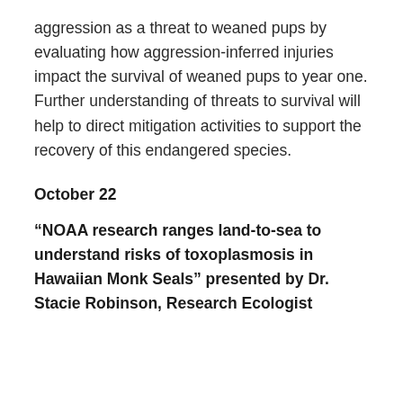aggression as a threat to weaned pups by evaluating how aggression-inferred injuries impact the survival of weaned pups to year one. Further understanding of threats to survival will help to direct mitigation activities to support the recovery of this endangered species.
October 22
“NOAA research ranges land-to-sea to understand risks of toxoplasmosis in Hawaiian Monk Seals” presented by Dr. Stacie Robinson, Research Ecologist